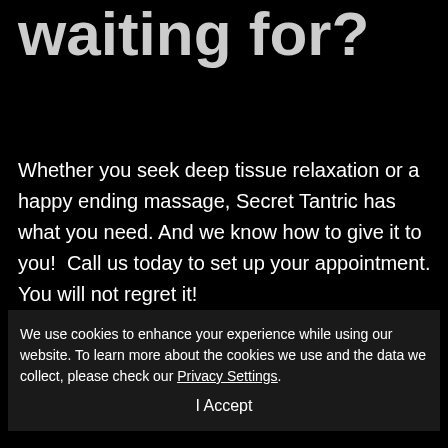waiting for?
Whether you seek deep tissue relaxation or a happy ending massage, Secret Tantric has what you need. And we know how to give it to you!  Call us today to set up your appointment. You will not regret it!
We use cookies to enhance your experience while using our website. To learn more about the cookies we use and the data we collect, please check our Privacy Settings.
I Accept